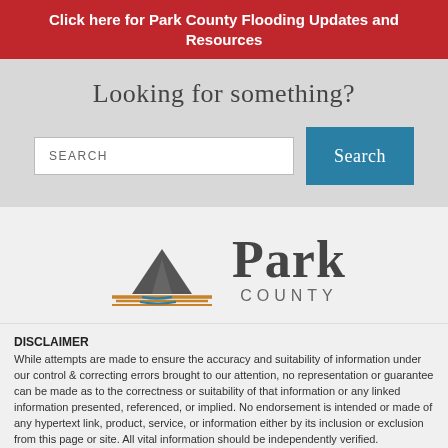Click here for Park County Flooding Updates and Resources
Looking for something?
[Figure (screenshot): Search bar with placeholder text SEARCH and a blue Search button]
[Figure (logo): Park County logo with mountain and field graphic and text PARK COUNTY]
DISCLAIMER
While attempts are made to ensure the accuracy and suitability of information under our control & correcting errors brought to our attention, no representation or guarantee can be made as to the correctness or suitability of that information or any linked information presented, referenced, or implied. No endorsement is intended or made of any hypertext link, product, service, or information either by its inclusion or exclusion from this page or site. All vital information should be independently verified.